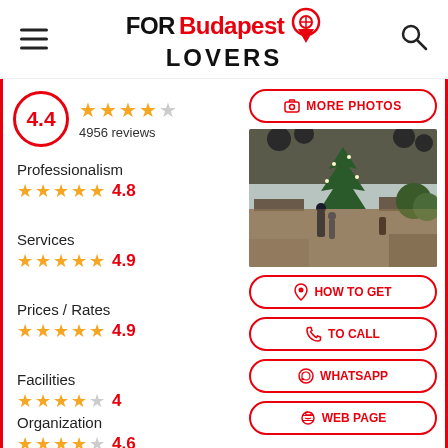FOR Budapest LOVERS
4.4 — 4956 reviews
Professionalism 4.8
Services 4.9
Prices / Rates 4.9
Facilities 4
Organization 4.6
[Figure (photo): Outdoor Christmas market scene with people, holiday stalls, a decorated tree, and dark balloon decorations]
MORE PHOTOS
HOW TO GET
TO CALL
WHATSAPP
WEB PAGE